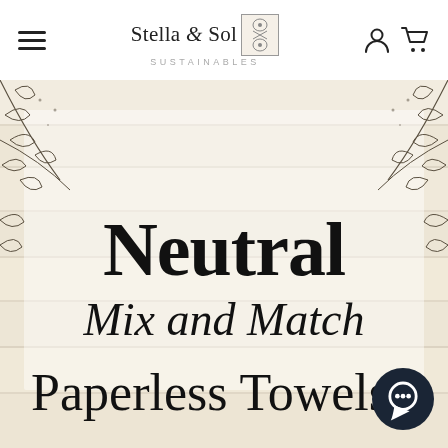Stella & Sol Sustainables — navigation header with hamburger menu, logo, account and cart icons
[Figure (illustration): Product promotional image with beige/cream wooden plank background, decorative botanical leaf illustrations in corners, large bold text reading 'Neutral Mix and Match Paperless Towels' centered on the image]